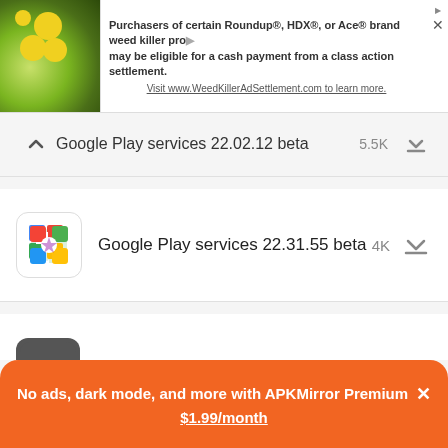[Figure (screenshot): Advertisement banner: Purchasers of certain Roundup®, HDX®, or Ace® brand weed killer products may be eligible for a cash payment from a class action settlement. Visit www.WeedKillerAdSettlement.com to learn more.]
Google Play services 22.02.12 beta — 5.5K
Google Play services 22.31.55 beta — 4K
Xiaomi Scanner 14.0.3 — 2K
Firefox Nightly for Developers 105.0a1 — 1.9K
Xiaomi System Launcher RELEASE-4.38.0.5210-08172130 — 1.6K
No ads, dark mode, and more with APKMirror Premium × $1.99/month